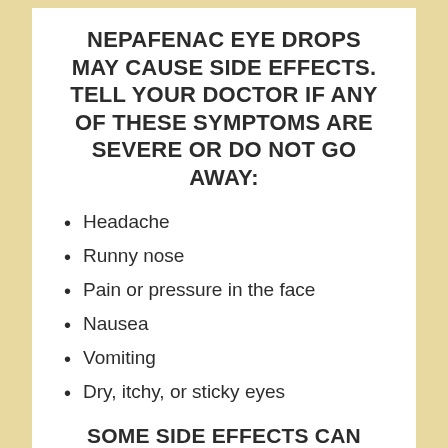NEPAFENAC EYE DROPS MAY CAUSE SIDE EFFECTS. TELL YOUR DOCTOR IF ANY OF THESE SYMPTOMS ARE SEVERE OR DO NOT GO AWAY:
Headache
Runny nose
Pain or pressure in the face
Nausea
Vomiting
Dry, itchy, or sticky eyes
SOME SIDE EFFECTS CAN BE SERIOUS. IF YOU EXPERIENCE ANY OF